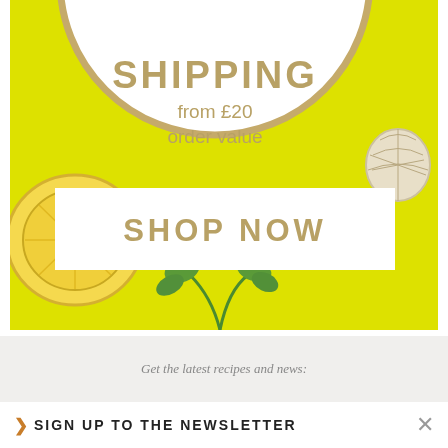[Figure (illustration): Promotional banner on bright yellow background featuring a white circular plate/dish with gold rim in center, showing text 'SHIPPING from £20 order value'. A lemon slice is visible bottom-left, a shell top-right, and green herbs bottom-center. A white rectangle button with 'SHOP NOW' in gold letters overlays the lower portion of the image.]
Get the latest recipes and news:
> SIGN UP TO THE NEWSLETTER